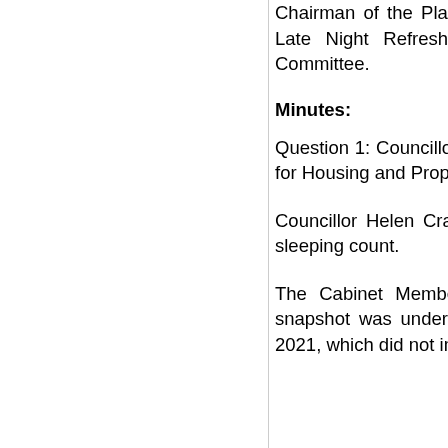Chairman of the Planning Committee, Licensing and Alcohol, Entertainment and Late Night Refreshment Licensing Committees and Governance and Audit Committee.
Minutes:
Question 1: Councillor Helen Crawford to Councillor Robert Reid (Cabinet Member for Housing and Property)
Councillor Helen Crawford asked for an update on the Council’s national rough sleeping count.
The Cabinet Member for Housing and Property reported that a single-night snapshot was undertaken between midnight and 2am on 18 and 19 November 2021, which did not include those people in hostels or other supportive